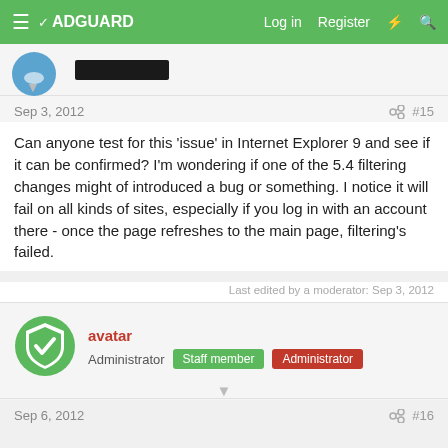ADGUARD  Log in  Register
[Figure (screenshot): Partial avatar (blue cloud icon) and a redacted black bar covering a username, at the top of a forum post]
Sep 3, 2012  #15
Can anyone test for this 'issue' in Internet Explorer 9 and see if it can be confirmed? I'm wondering if one of the 5.4 filtering changes might of introduced a bug or something. I notice it will fail on all kinds of sites, especially if you log in with an account there - once the page refreshes to the main page, filtering's failed.
Last edited by a moderator: Sep 3, 2012
[Figure (logo): Adguard green shield logo with white checkmark]
avatar  Administrator  Staff member  Administrator
Sep 6, 2012  #16